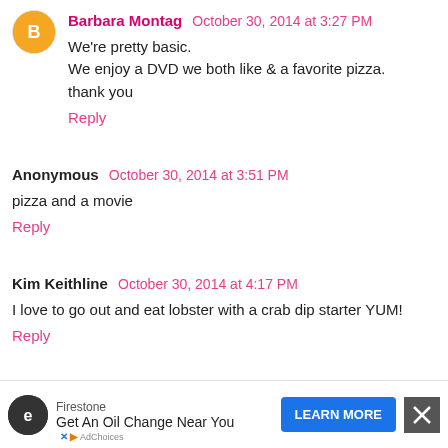Barbara Montag  October 30, 2014 at 3:27 PM
We're pretty basic.
We enjoy a DVD we both like & a favorite pizza.
thank you
Reply
Anonymous  October 30, 2014 at 3:51 PM
pizza and a movie
Reply
Kim Keithline  October 30, 2014 at 4:17 PM
I love to go out and eat lobster with a crab dip starter YUM!
Reply
Firestone
Get An Oil Change Near You
LEARN MORE